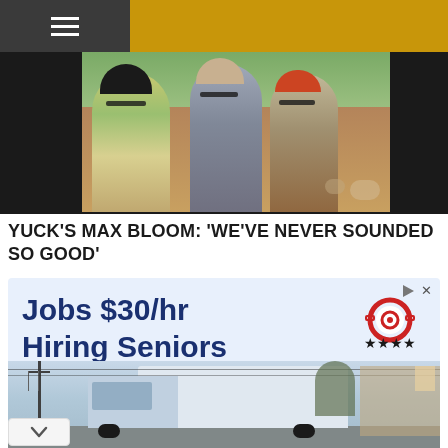[Figure (screenshot): Website header with gold/yellow top bar and dark hamburger menu icon on the left]
[Figure (photo): Three people standing outdoors in a field, wearing sunglasses, with trees and animals in the background]
YUCK'S MAX BLOOM: 'WE'VE NEVER SOUNDED SO GOOD'
[Figure (screenshot): Advertisement banner with light blue background showing 'Jobs $30/hr Hiring Seniors' text with a badge/medal icon, and below it a photo of a delivery truck on a street]
[Figure (screenshot): Advertisement for Walgreens Photo showing the Walgreens W logo, 'Try Something New' headline, 'Walgreens Photo' subtext, and a blue navigation arrow icon]